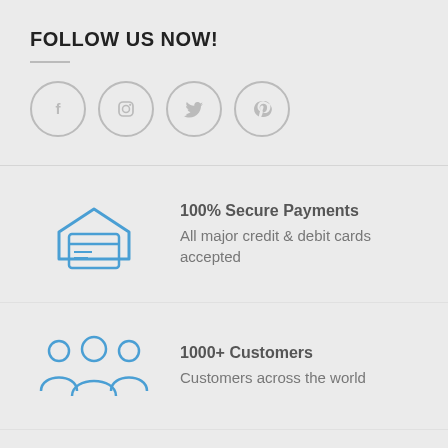FOLLOW US NOW!
[Figure (illustration): Four social media icons in gray circles: Facebook (f), Instagram (camera), Twitter (bird), Pinterest (p)]
[Figure (illustration): Blue outline icon of a payment card with an envelope/house shape]
100% Secure Payments
All major credit & debit cards accepted
[Figure (illustration): Blue outline icon of a group of three people/customers]
1000+ Customers
Customers across the world
10+ Countries